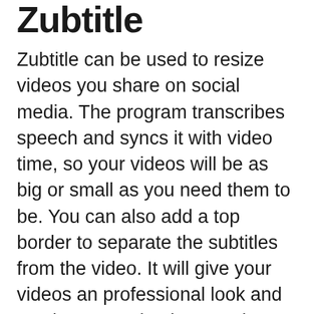Zubtitle
Zubtitle can be used to resize videos you share on social media. The program transcribes speech and syncs it with video time, so your videos will be as big or small as you need them to be. You can also add a top border to separate the subtitles from the video. It will give your videos an professional look and can be customized to match your brand’s colors and fonts. You can even add a custom logo or personal branding to your videos. Zubtitle gives you a free trial so that you can test it out.
Zubtitle allows you to crop and resize videos. You can resize videos to fit any platform – YouTube, Facebook LinkedIn Snapchat or TikTok. It can automatically conform footage...